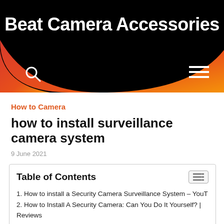Beat Camera Accessories
How to Camera
how to install surveillance camera system
9 June 2021
| Table of Contents |
| --- |
| 1. How to install a Security Camera Surveillance System – YouT |
| 2. How to Install A Security Camera: Can You Do It Yourself? | Reviews |
| 3. How to Install Security Cameras – Lo |
| 4. Security Camera Installation – The Home De |
| 5. Video Surveillance System Buying Guide – businessnewsdaily. |